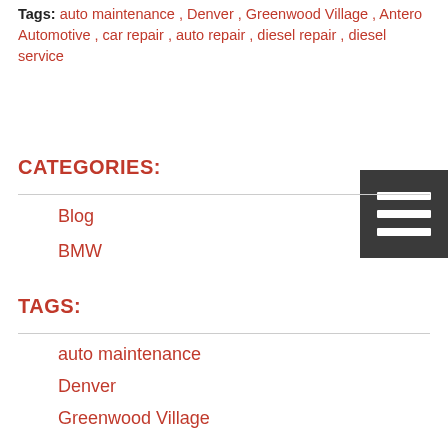Tags: auto maintenance , Denver , Greenwood Village , Antero Automotive , car repair , auto repair , diesel repair , diesel service
CATEGORIES:
Blog
BMW
TAGS:
auto maintenance
Denver
Greenwood Village
Antero Automotive
car repair
auto repair